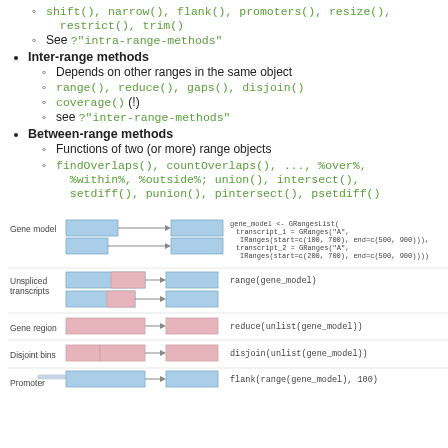shift(), narrow(), flank(), promoters(), resize(), restrict(), trim()
See ?"intra-range-methods"
Inter-range methods
Depends on other ranges in the same object
range(), reduce(), gaps(), disjoin()
coverage() (!)
see ?"inter-range-methods"
Between-range methods
Functions of two (or more) range objects
findOverlaps(), countOverlaps(), ..., %over%, %within%, %outside%; union(), intersect(), setdiff(), punion(), pintersect(), psetdiff()
[Figure (illustration): Diagram showing gene model, unspliced transcripts, gene region, disjoint bins, and promoter with corresponding R function calls: range(gene_model), reduce(unlist(gene_model)), disjoin(unlist(gene_model)), flank(range(gene_model), 100)]